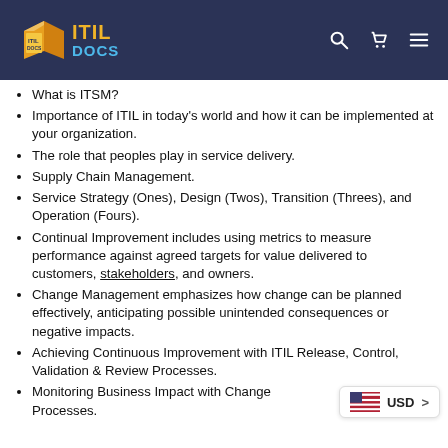ITIL DOCS
What is ITSM?
Importance of ITIL in today's world and how it can be implemented at your organization.
The role that peoples play in service delivery.
Supply Chain Management.
Service Strategy (Ones), Design (Twos), Transition (Threes), and Operation (Fours).
Continual Improvement includes using metrics to measure performance against agreed targets for value delivered to customers, stakeholders, and owners.
Change Management emphasizes how change can be planned effectively, anticipating possible unintended consequences or negative impacts.
Achieving Continuous Improvement with ITIL Release, Control, Validation & Review Processes.
Monitoring Business Impact with Change Processes.